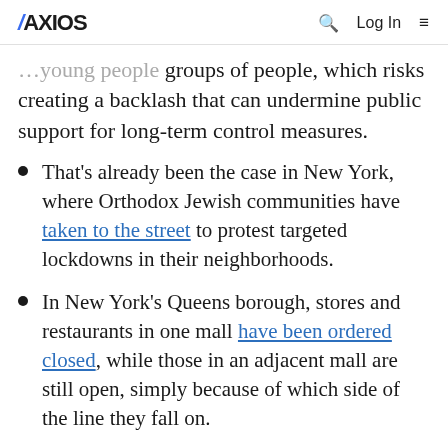AXIOS | Q | Log In | ≡
…young people groups of people, which risks creating a backlash that can undermine public support for long-term control measures.
That's already been the case in New York, where Orthodox Jewish communities have taken to the street to protest targeted lockdowns in their neighborhoods.
In New York's Queens borough, stores and restaurants in one mall have been ordered closed, while those in an adjacent mall are still open, simply because of which side of the line they fall on.
The… of COVID…